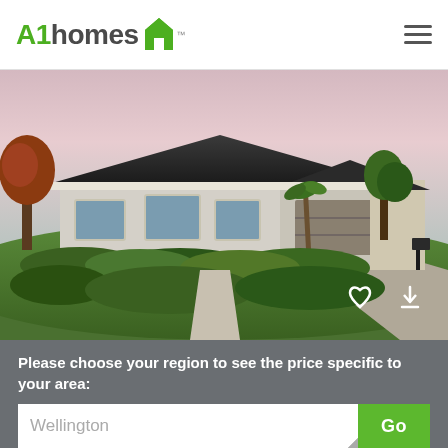[Figure (logo): A1homes logo with green house icon and trademark symbol]
[Figure (photo): Exterior rendering of a single-story residential home with dark roof, white/grey walls, double garage, landscaped garden with shrubs and trees, driveway, purple/pink sky at dusk. Heart and download icons in lower right corner.]
Please choose your region to see the price specific to your area:
Wellington
Go